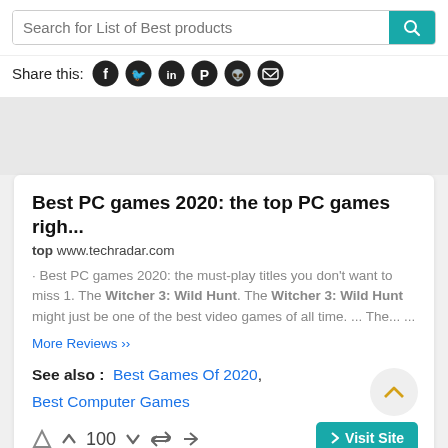Search for List of Best products
Share this:
Best PC games 2020: the top PC games righ...
top www.techradar.com
· Best PC games 2020: the must-play titles you don't want to miss 1. The Witcher 3: Wild Hunt. The Witcher 3: Wild Hunt might just be one of the best video games of all time. ... The... ...
More Reviews ››
See also :  Best Games Of 2020, Best Computer Games
↑ 100 ↓  retweet  share